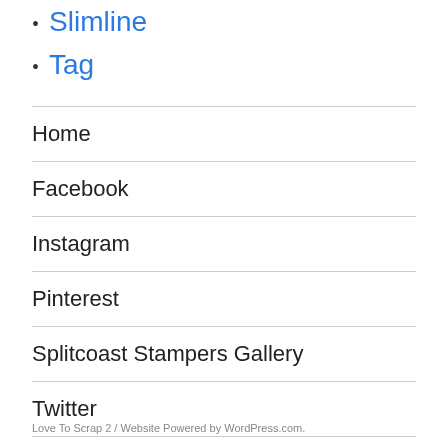Slimline
Tag
Home
Facebook
Instagram
Pinterest
Splitcoast Stampers Gallery
Twitter
Love To Scrap 2  /  Website Powered by WordPress.com.